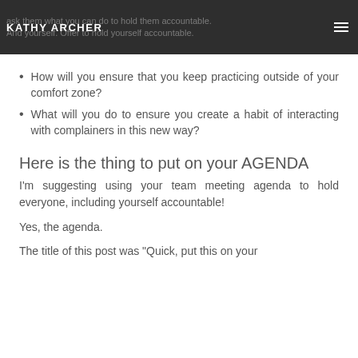KATHY ARCHER | ask them what you can do to hold them accountable. And yourself. Offer to hold yourself accountable.
How will you ensure that you keep practicing outside of your comfort zone?
What will you do to ensure you create a habit of interacting with complainers in this new way?
Here is the thing to put on your AGENDA
I'm suggesting using your team meeting agenda to hold everyone, including yourself accountable!
Yes, the agenda.
The title of this post was "Quick, put this on your